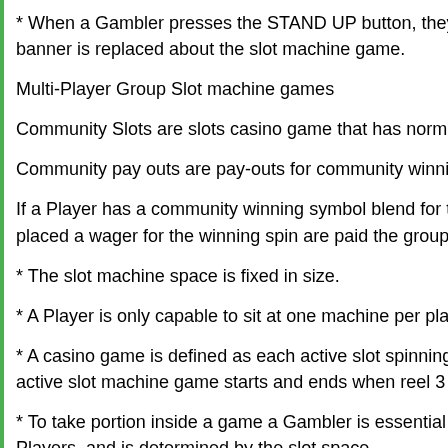* When a Gambler presses the STAND UP button, they are instantly banner is replaced about the slot machine game.
Multi-Player Group Slot machine games
Community Slots are slots casino game that has normal and group p
Community pay outs are pay-outs for community winning symbol co
If a Player has a community winning symbol blend for the pay out li placed a wager for the winning spin are paid the group pay out. This
* The slot machine space is fixed in size.
* A Player is only capable to sit at one machine per place.
* A casino game is defined as each active slot spinning after simulta active slot machine game starts and ends when reel 3 of every singl
* To take portion inside a game a Gambler is essential to location a Players, and is determined by the slot space.
* Every single casino game is played on an individual basis, and wi